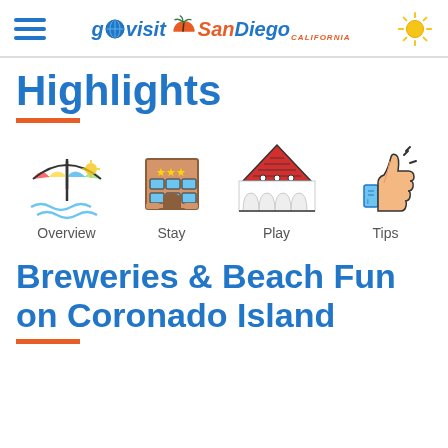go visit San Diego — govisitSanDiego logo with hamburger menu and sun icon
Highlights
[Figure (infographic): Four navigation icons in a row: Overview (beach umbrella and waves), Stay (hotel building), Play (Hotel del Coronado red dome), Tips (thumbs up)]
Breweries & Beach Fun on Coronado Island